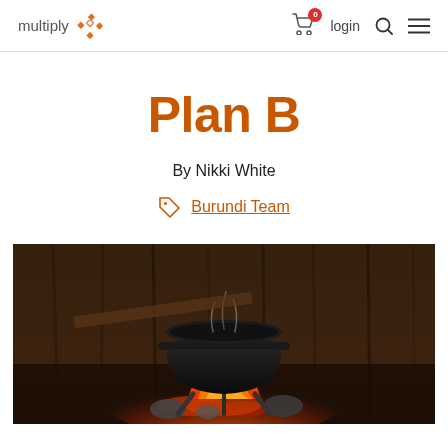multiply  login
Plan B
By Nikki White
Burundi Team
[Figure (photo): A black cast-iron pot sitting over an open fire with flames and glowing embers, inside a rustic wooden structure. Steam rises from the pot.]